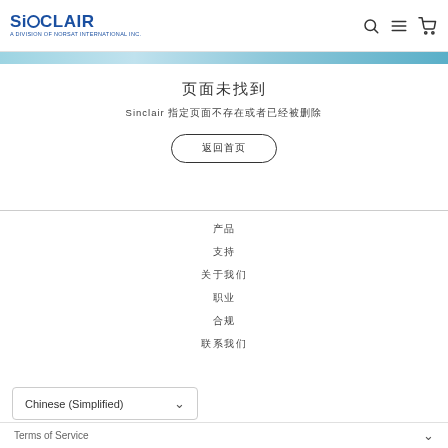SINCLAIR - A DIVISION OF NORSAT INTERNATIONAL INC.
[Figure (screenshot): Sinclair website header with logo and navigation icons (search, menu, cart)]
[Figure (illustration): Light blue banner strip below navigation]
页面未找到
Sinclair 指定页面不存在或者已经被删除
返回首页
产品
支持
关于我们
职业
合规
联系我们
Chinese (Simplified)
Terms of Service